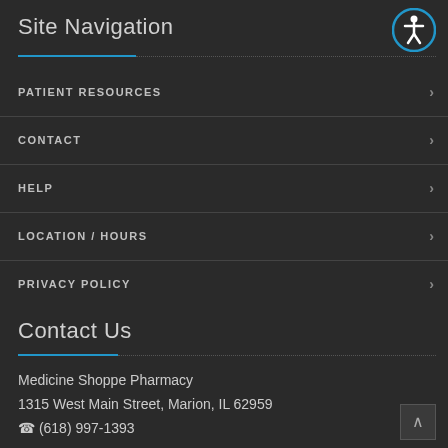Site Navigation
PATIENT RESOURCES
CONTACT
HELP
LOCATION / HOURS
PRIVACY POLICY
Contact Us
Medicine Shoppe Pharmacy
1315 West Main Street, Marion, IL 62959
(618) 997-1393